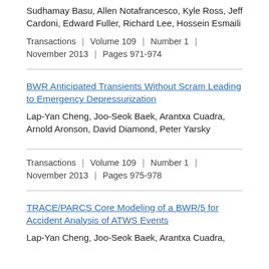Sudhamay Basu, Allen Notafrancesco, Kyle Ross, Jeff Cardoni, Edward Fuller, Richard Lee, Hossein Esmaili
Transactions | Volume 109 | Number 1 | November 2013 | Pages 971-974
BWR Anticipated Transients Without Scram Leading to Emergency Depressurization
Lap-Yan Cheng, Joo-Seok Baek, Arantxa Cuadra, Arnold Aronson, David Diamond, Peter Yarsky
Transactions | Volume 109 | Number 1 | November 2013 | Pages 975-978
TRACE/PARCS Core Modeling of a BWR/5 for Accident Analysis of ATWS Events
Lap-Yan Cheng, Joo-Seok Baek, Arantxa Cuadra,